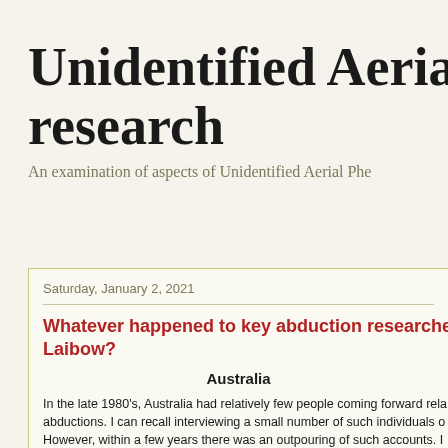Unidentified Aerial Ph… research
An examination of aspects of Unidentified Aerial Phe…
Saturday, January 2, 2021
Whatever happened to key abduction researche… Laibow?
Australia
In the late 1980's, Australia had relatively few people coming forward rela… abductions. I can recall interviewing a small number of such individuals o… However, within a few years there was an outpouring of such accounts. I… being undertaken overseas, and was fortunate to be the sole Australian r…